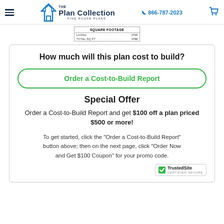The Plan Collection — Fine House Plans | 866-787-2023
| SQUARE FOOTAGE |
| --- |
| LIVING | 2705 |
| TOTAL SQ FT | 4788 |
How much will this plan cost to build?
Order a Cost-to-Build Report
Special Offer
Order a Cost-to-Build Report and get $100 off a plan priced $500 or more!
To get started, click the “Order a Cost-to-Build Report” button above; then on the next page, click “Order Now and Get $100 Coupon” for your promo code.
[Figure (logo): TrustedSite Certified Secure badge]